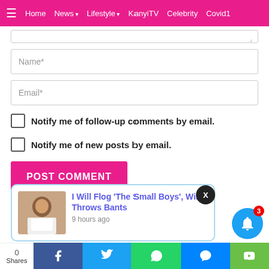≡  Home  News ▾  Lifestyle ▾  KanyiTV  Celebrity  Covid1
Name*
Email*
Notify me of follow-up comments by email.
Notify me of new posts by email.
POST COMMENT
[Figure (screenshot): Notification popup with thumbnail image of a man and article title 'I Will Flog The Small Boys, Wike Throws Bants', timestamped 9 hours ago]
Shares  Facebook  Twitter  WhatsApp  Messenger  (YouTube/Share)